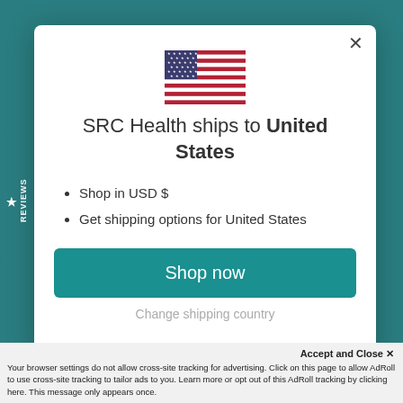[Figure (screenshot): Screenshot of a website modal dialog showing SRC Health ships to United States, with a US flag, bullet points about USD and shipping, a Shop now button, and a cookie/tracking notification bar at the bottom. A teal website background is visible with a Reviews tab on the left side.]
SRC Health ships to United States
Shop in USD $
Get shipping options for United States
Shop now
Change shipping country
Accept and Close ✕
Your browser settings do not allow cross-site tracking for advertising. Click on this page to allow AdRoll to use cross-site tracking to tailor ads to you. Learn more or opt out of this AdRoll tracking by clicking here. This message only appears once.